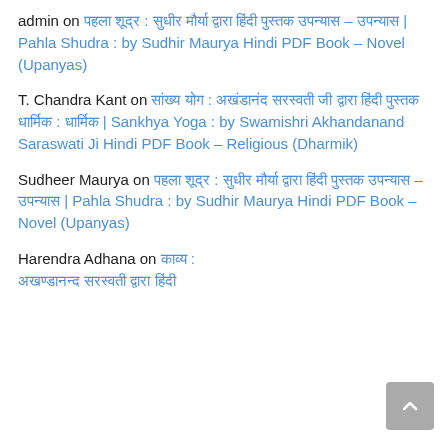admin on पहला शूद्र : सुधीर मौर्या द्वारा हिंदी पुस्तक उपन्यास – उपन्यास | Pahla Shudra : by Sudhir Maurya Hindi PDF Book – Novel (Upanyas)
T. Chandra Kant on सांख्य योग : अखंडानंद सरस्वती जी द्वारा हिंदी पुस्तक धार्मिक : धार्मिक | Sankhya Yoga : by Swamishri Akhandanand Saraswati Ji Hindi PDF Book – Religious (Dharmik)
Sudheer Maurya on पहला शूद्र : सुधीर मौर्या द्वारा हिंदी पुस्तक उपन्यास – उपन्यास | Pahla Shudra : by Sudhir Maurya Hindi PDF Book – Novel (Upanyas)
Harendra Adhana on काव्य : ...